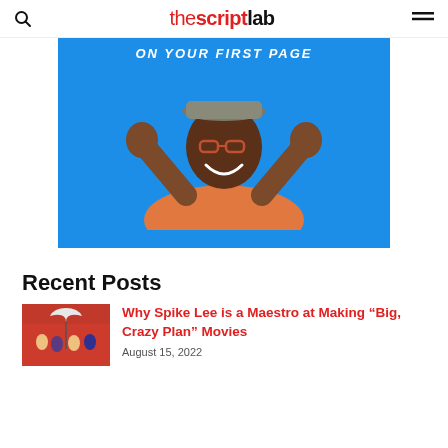the script lab
[Figure (photo): Man in orange plaid shirt and flat cap with glasses, hands raised in excitement, against a blue background. White text overlay reads 'ON YOUR FIRST PAGE'.]
Recent Posts
[Figure (photo): Thumbnail showing group of people in front of a red wall with an umbrella, related to Spike Lee article.]
Why Spike Lee is a Maestro at Making “Big, Crazy Plan” Movies
August 15, 2022